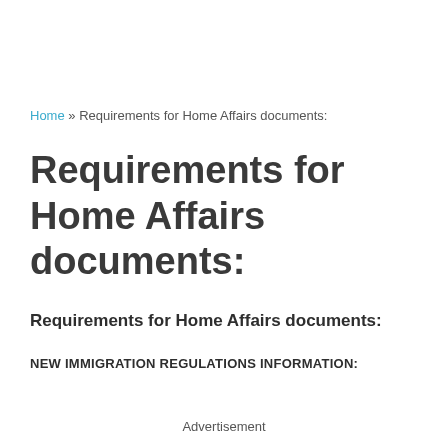Home » Requirements for Home Affairs documents:
Requirements for Home Affairs documents:
Requirements for Home Affairs documents:
NEW IMMIGRATION REGULATIONS INFORMATION:
Advertisement